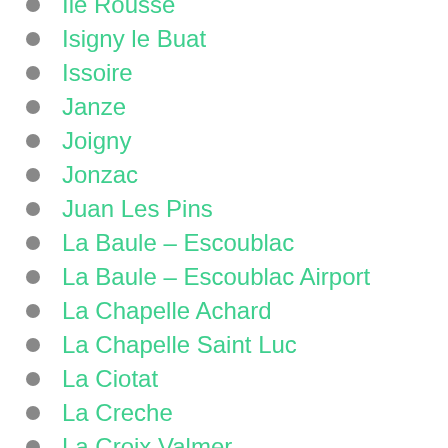Ile Rousse
Isigny le Buat
Issoire
Janze
Joigny
Jonzac
Juan Les Pins
La Baule – Escoublac
La Baule – Escoublac Airport
La Chapelle Achard
La Chapelle Saint Luc
La Ciotat
La Creche
La Croix Valmer
La Ferte Bernard
La Ferte Saint Aubin
La Ferte sous Jouarre